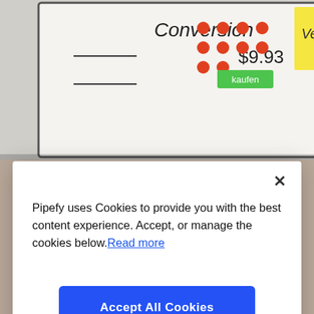[Figure (photo): Top background photo: whiteboard sketch showing 'Conversion $9.93' with red dots, and a yellow sticky note with 'Verkau...' text]
[Figure (photo): Bottom background photo: open book/notebook showing BPM diagram with colored circles labeled Sustain, Design, Optimize and arrows]
Pipefy uses Cookies to provide you with the best content experience. Accept, or manage the cookies below. Read more
Accept All Cookies
Cookies Settings